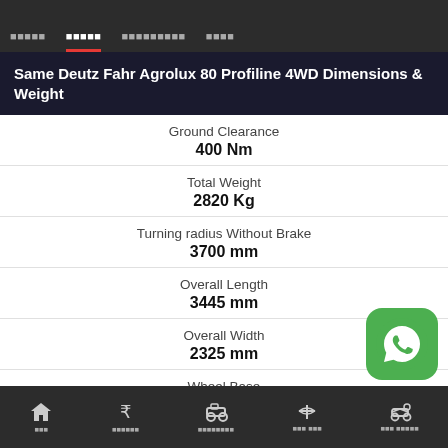Navigation bar with menu items
Same Deutz Fahr Agrolux 80 Profiline 4WD Dimensions & Weight
| Specification | Value |
| --- | --- |
| Ground Clearance | 400 Nm |
| Total Weight | 2820 Kg |
| Turning radius Without Brake | 3700 mm |
| Overall Length | 3445 mm |
| Overall Width | 2325 mm |
| Wheel Base |  |
Bottom navigation bar